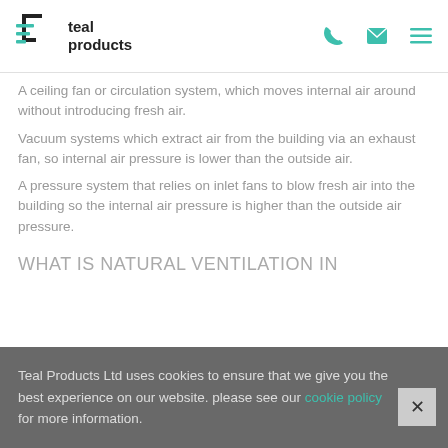teal products
A ceiling fan or circulation system, which moves internal air around without introducing fresh air.
Vacuum systems which extract air from the building via an exhaust fan, so internal air pressure is lower than the outside air.
A pressure system that relies on inlet fans to blow fresh air into the building so the internal air pressure is higher than the outside air pressure.
WHAT IS NATURAL VENTILATION IN
Teal Products Ltd uses cookies to ensure that we give you the best experience on our website. please see our cookie policy for more information.